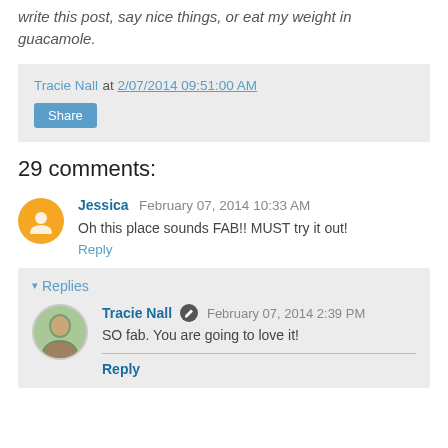write this post, say nice things, or eat my weight in guacamole.
Tracie Nall at 2/07/2014 09:51:00 AM
Share
29 comments:
Jessica February 07, 2014 10:33 AM
Oh this place sounds FAB!! MUST try it out!
Reply
Replies
Tracie Nall February 07, 2014 2:39 PM
SO fab. You are going to love it!
Reply